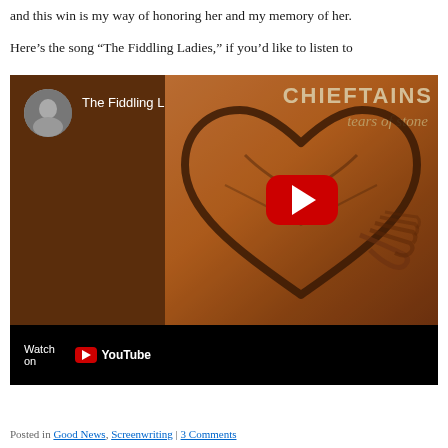and this win is my way of honoring her and my memory of her.
Here’s the song “The Fiddling Ladies,” if you’d like to listen to
[Figure (screenshot): YouTube embed thumbnail for 'The Fiddling Ladies' by The Chieftains - Tears of Stone album. Shows the album art with a heart shape on earthy brown background, CHIEFTAINS text and 'tears of stone' in italic, YouTube play button in center, and 'Watch on YouTube' bar at bottom left.]
Posted in Good News, Screenwriting | 3 Comments